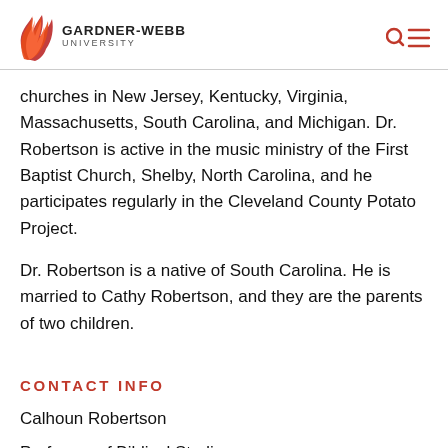GARDNER-WEBB UNIVERSITY
churches in New Jersey, Kentucky, Virginia, Massachusetts, South Carolina, and Michigan. Dr. Robertson is active in the music ministry of the First Baptist Church, Shelby, North Carolina, and he participates regularly in the Cleveland County Potato Project.
Dr. Robertson is a native of South Carolina. He is married to Cathy Robertson, and they are the parents of two children.
CONTACT INFO
Calhoun Robertson
Professor of Biblical Studies
School of Divinity